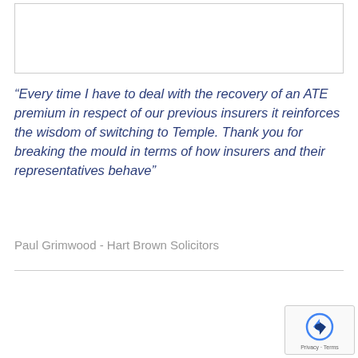[Figure (other): White box / placeholder image area at the top of the page]
“Every time I have to deal with the recovery of an ATE premium in respect of our previous insurers it reinforces the wisdom of switching to Temple. Thank you for breaking the mould in terms of how insurers and their representatives behave”
Paul Grimwood - Hart Brown Solicitors
[Figure (logo): reCAPTCHA badge with logo and Privacy - Terms text]